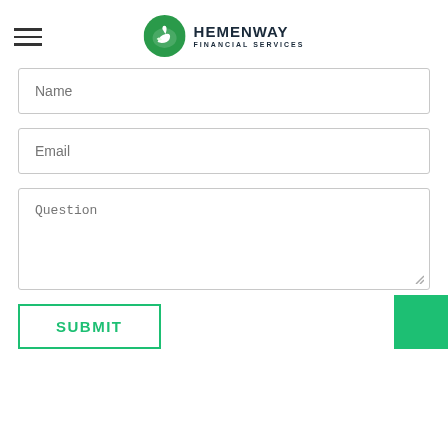[Figure (logo): Hemenway Financial Services logo with green circle containing a swan silhouette and bold text]
Name
Email
Question
SUBMIT